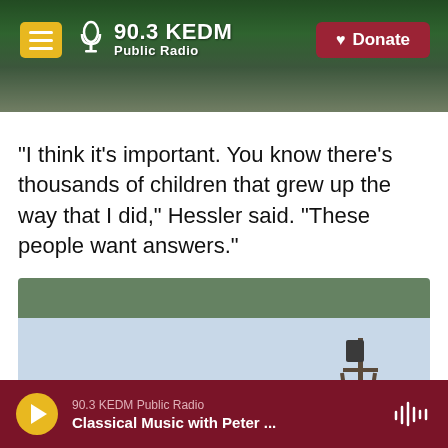90.3 KEDM Public Radio | Donate
"I think it's important. You know there's thousands of children that grew up the way that I did," Hessler said. "These people want answers."
[Figure (photo): A red sharps/biohazard disposal box in a parking lot with urban buildings and a utility pole in the background at dusk.]
90.3 KEDM Public Radio | Classical Music with Peter ...